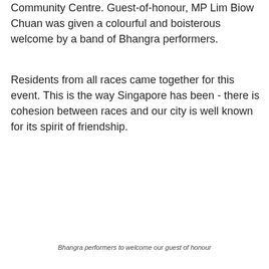Community Centre. Guest-of-honour, MP Lim Biow Chuan was given a colourful and boisterous welcome by a band of Bhangra performers.
Residents from all races came together for this event. This is the way Singapore has been - there is cohesion between races and our city is well known for its spirit of friendship.
[Figure (photo): Group of Bhangra performers in colourful traditional costumes with decorative headwear, holding large drums, standing in front of a General Office sign at a community centre.]
Bhangra performers to welcome our guest of honour